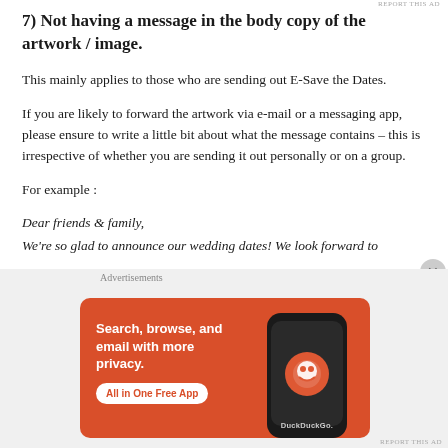REPORT THIS AD
7) Not having a message in the body copy of the artwork / image.
This mainly applies to those who are sending out E-Save the Dates.
If you are likely to forward the artwork via e-mail or a messaging app, please ensure to write a little bit about what the message contains – this is irrespective of whether you are sending it out personally or on a group.
For example :
Dear friends & family,
We're so glad to announce our wedding dates! We look forward to
[Figure (screenshot): DuckDuckGo advertisement banner with text 'Search, browse, and email with more privacy. All in One Free App' on orange background with phone image showing DuckDuckGo logo]
Advertisements
REPORT THIS AD